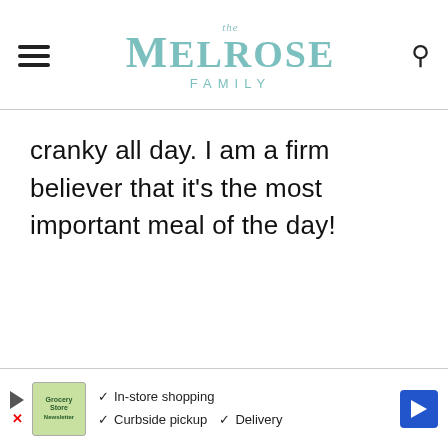The Melrose Family
cranky all day. I am a firm believer that it's the most important meal of the day!
[Figure (other): Advertisement banner at the bottom of the page showing a grocery store logo with checkmarks for In-store shopping, Curbside pickup, and Delivery options, along with a blue navigation arrow icon.]